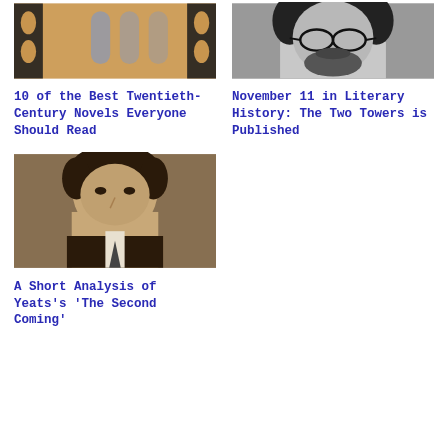[Figure (photo): Book cover with decorative pattern in beige, black and blue/gray tones]
10 of the Best Twentieth-Century Novels Everyone Should Read
[Figure (photo): Black and white close-up portrait of a man wearing glasses with a beard]
November 11 in Literary History: The Two Towers is Published
[Figure (photo): Sepia-toned portrait photograph of a man in suit looking to the side]
A Short Analysis of Yeats's 'The Second Coming'